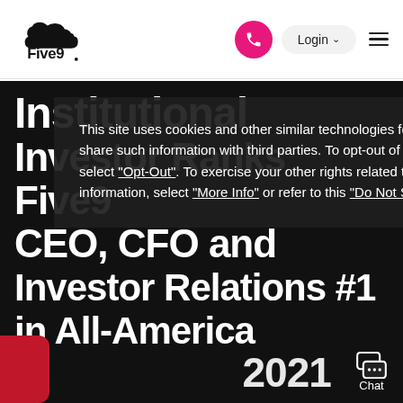[Figure (logo): Five9 company logo – cloud shape with 'Five9' text]
Login  ☰
Institutional Investor Ranks Five9 CEO, CFO and Investor Relations #1 in All-America Executive Team in 2021
This site uses cookies and other similar technologies for advertising purposes, and we may share such information with third parties. To opt-out of sharing information with third parties, select "Opt-Out". To exercise your other rights related to cookies or our use of your information, select "More Info" or refer to this "Do Not Share My Personal Information" link.
I Accept